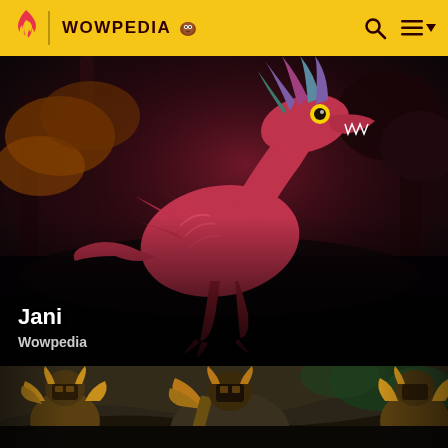WOWPEDIA
[Figure (screenshot): Wowpedia website screenshot showing a pink/magenta feathered raptor dinosaur creature (Jani) in a dark jungle environment with foliage background. Card overlay shows title 'Jani' and source 'Wowpedia'.]
Jani
Wowpedia
[Figure (screenshot): Partial screenshot of another Wowpedia article showing an armored troll or orc-like character in a rocky jungle environment, cropped at the bottom of the page.]